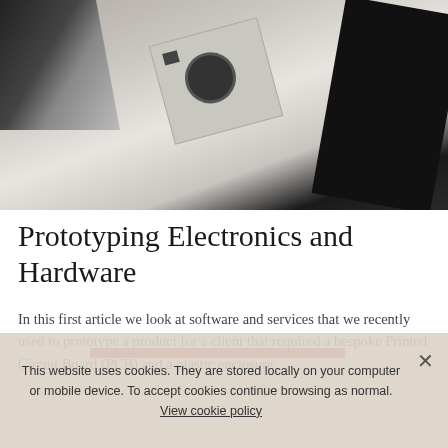[Figure (photo): Photo of electronics prototyping components on a white surface: circuit board with large capacitor/components, black device or case, and wires/cables]
Prototyping Electronics and Hardware
In this first article we look at software and services that we recently used to prototype a product for a client that required a bespoke Printed Circuit Board (PCB) and a plastic enclosure.
This website uses cookies. They are stored locally on your computer or mobile device. To accept cookies continue browsing as normal. View cookie policy